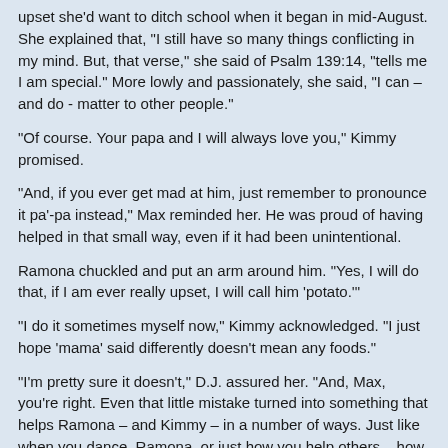upset she'd want to ditch school when it began in mid-August. She explained that, "I still have so many things conflicting in my mind. But, that verse," she said of Psalm 139:14, "tells me I am special." More lowly and passionately, she said, "I can – and do - matter to other people."
"Of course. Your papa and I will always love you," Kimmy promised.
"And, if you ever get mad at him, just remember to pronounce it pa'-pa instead," Max reminded her. He was proud of having helped in that small way, even if it had been unintentional.
Ramona chuckled and put an arm around him. "Yes, I will do that, if I am ever really upset, I will call him 'potato.'"
"I do it sometimes myself now," Kimmy acknowledged. "I just hope 'mama' said differently doesn't mean any foods."
"I'm pretty sure it doesn't," D.J. assured her. "And, Max, you're right. Even that little mistake turned into something that helps Ramona – and Kimmy – in a number of ways. Just like when you dance, Ramona, or just how you help others – how any of us does – we're making the world a better place. Because there's so much that can tears us down."
Kimmy confirmed this. "I've had people say some of my party ideas have left them smiling for days. Or, maybe it was laughing. Probably both,"